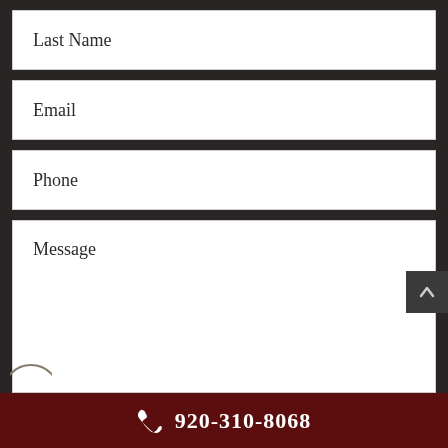Last Name
Email
Phone
Message
920-310-8068